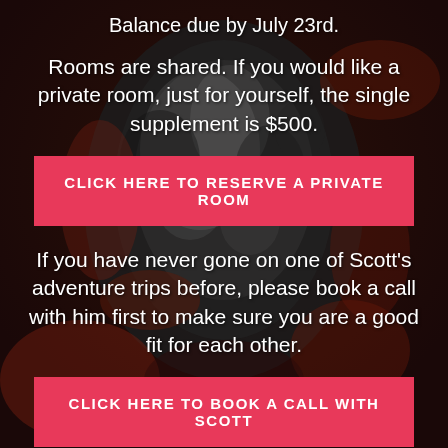Balance due by July 23rd.
Rooms are shared. If you would like a private room, just for yourself, the single supplement is $500.
CLICK HERE TO RESERVE A PRIVATE ROOM
If you have never gone on one of Scott's adventure trips before, please book a call with him first to make sure you are a good fit for each other.
CLICK HERE TO BOOK A CALL WITH SCOTT